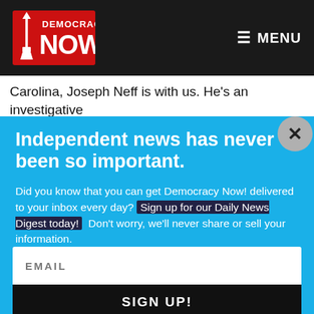[Figure (logo): Democracy Now! logo — red stylized text with torch/Statue of Liberty icon on dark background]
MENU
Carolina, Joseph Neff is with us. He's an investigative
Independent news has never been so important.
Did you know that you can get Democracy Now! delivered to your inbox every day? Sign up for our Daily News Digest today! Don't worry, we'll never share or sell your information.
EMAIL
SIGN UP!